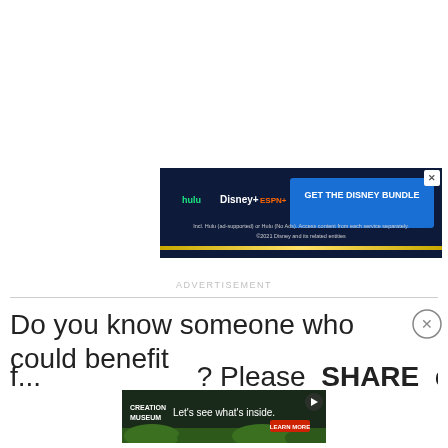[Figure (screenshot): Disney Bundle advertisement banner with Hulu, Disney+, and ESPN+ logos. Blue background with yellow gradient strip at bottom. Text: GET THE DISNEY BUNDLE. Incl. Hulu (ad-supported) or Hulu (No Ads). Access content from each service separately. ©2021 Disney and its related entities. Close X button top right.]
ADVERTISEMENT
Do you know someone who could benefit
f... SHARE ... Facebook...
[Figure (screenshot): Creation Museum advertisement. Dark background with green foliage. Text: Let's see what's inside. LEARN MORE button in red. Play button icon top right.]